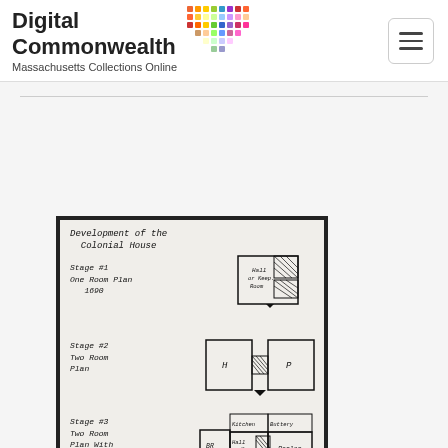[Figure (logo): Digital Commonwealth logo with colorful dot grid and text 'Digital Commonwealth / Massachusetts Collections Online']
[Figure (schematic): Hand-drawn architectural floor plan diagram titled 'Development of the Colonial House' showing three stages: Stage #1 One Room Plan 1690, Stage #2 Two Room Plan, Stage #3 Two Room Plan with Lean-to Added, with floor plan diagrams and an elevation sketch of the lean-to addition. Handwritten note '80% p.16' at bottom left.]